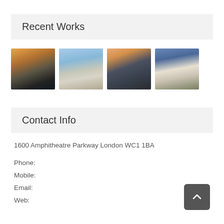Recent Works
[Figure (photo): Four thumbnail photographs of residential/architectural buildings arranged in a row]
Contact Info
1600 Amphitheatre Parkway London WC1 1BA
Phone:
Mobile:
Email:
Web: